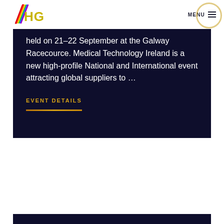[Figure (logo): HGF logo with rainbow-colored diagonal slash and HGF text in yellow-green]
MENU
held on 21-22 September at the Galway Racecource. Medical Technology Ireland is a new high-profile National and International event attracting global suppliers to …
EVENT DETAILS